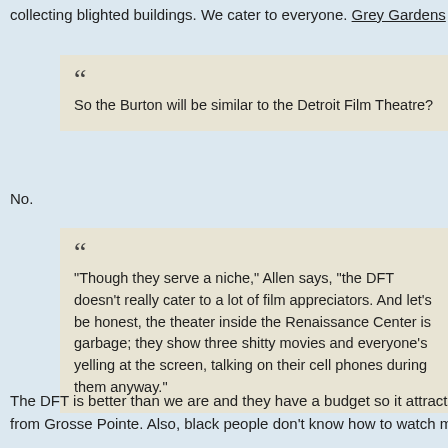collecting blighted buildings. We cater to everyone. Grey Gardens next m
So the Burton will be similar to the Detroit Film Theatre?
No.
"Though they serve a niche," Allen says, "the DFT doesn't really cater to a lot of film appreciators. And let's be honest, the theater inside the Renaissance Center is garbage; they show three shitty movies and everyone's yelling at the screen, talking on their cell phones during them anyway."
The DFT is better than we are and they have a budget so it attracts arty m from Grosse Pointe. Also, black people don't know how to watch movies.
Already on the Burton docket are Scarface, Examine Life, the cult Japanese horror flick Husau, as well as some local films. So what's to become of the remainder of the school? The theater will only seat 120 or so.